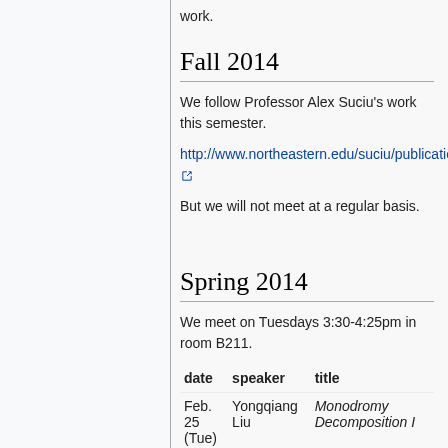work.
Fall 2014
We follow Professor Alex Suciu's work this semester.
http://www.northeastern.edu/suciu/publications.html
But we will not meet at a regular basis.
Spring 2014
We meet on Tuesdays 3:30-4:25pm in room B211.
| date | speaker | title |
| --- | --- | --- |
| Feb. 25 (Tue) | Yongqiang Liu | Monodromy Decomposition I |